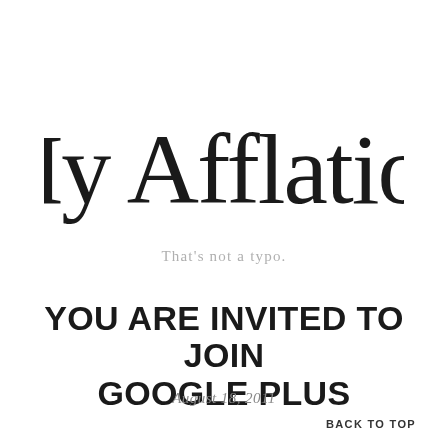My Afflation
That's not a typo.
YOU ARE INVITED TO JOIN GOOGLE PLUS
August 18, 2011
BACK TO TOP